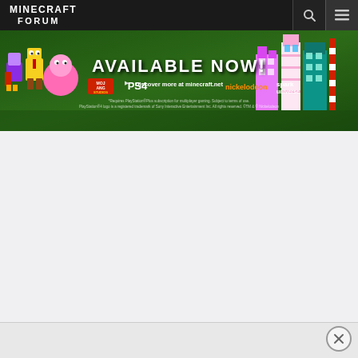MINECRAFT FORUM
[Figure (screenshot): Minecraft Forum website screenshot showing navigation bar with logo, search icon, and menu icon, followed by a promotional banner advertisement for Minecraft on PS4 featuring colorful blocky characters on a green background. Text reads 'AVAILABLE NOW! Discover more at minecraft.net' with Mojang, PS4, Nickelodeon, and Spark Universe logos, plus fine print.]
[Figure (other): Close/dismiss button (X in circle) at bottom right of page]